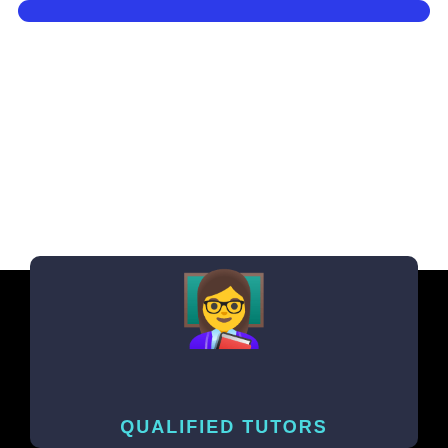[Figure (screenshot): Blue rounded rectangle bar at top of white section, representing a UI button or header element]
[Figure (illustration): Dark navy card with a woman teacher emoji holding a book, with 'QUALIFIED TUTORS' text in cyan below the illustration]